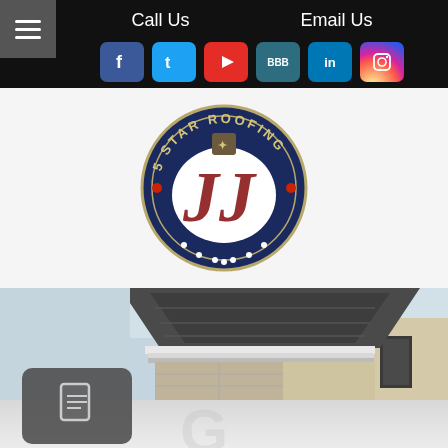Call Us  |  Email Us
[Figure (logo): Social media icons row: Facebook, Twitter, YouTube, BBB, LinkedIn, Instagram]
[Figure (logo): 5 Star Roofing circular logo with dark navy background, red script JJ monogram, stars around border, and 5 STAR ROOFING text]
[Figure (photo): Photo of a house rooftop showing dark grey asphalt shingles, white trim/fascia, beige siding with dark window frames]
[Figure (screenshot): Dark grey rounded square button with document/text icon in center, partially visible over reflected surface]